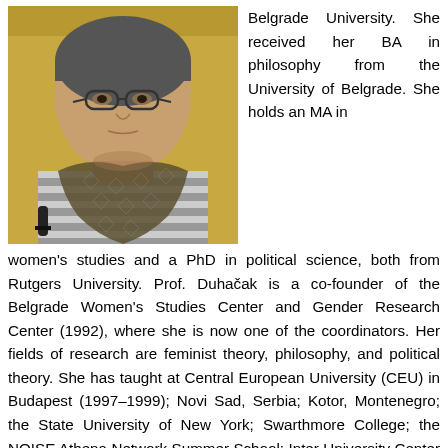[Figure (photo): Black and white photo of a middle-aged woman with glasses, wearing a striped top and patterned scarf, seated in front of a microphone against a light background.]
Belgrade University. She received her BA in philosophy from the University of Belgrade. She holds an MA in women's studies and a PhD in political science, both from Rutgers University. Prof. Duhaček is a co-founder of the Belgrade Women's Studies Center and Gender Research Center (1992), where she is now one of the coordinators. Her fields of research are feminist theory, philosophy, and political theory. She has taught at Central European University (CEU) in Budapest (1997–1999); Novi Sad, Serbia; Kotor, Montenegro; the State University of New York; Swarthmore College; the NOISE Athena Network Summer School; Inter University Center (IUC) in Dubrovnik, and elsewhere.
A partially visible line at the bottom of the page.